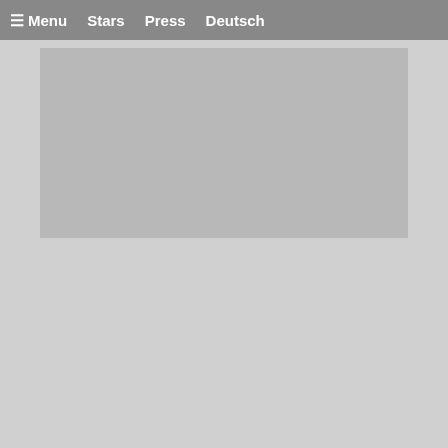≡ Menu   Stars   Press   Deutsch
[Figure (photo): Large image placeholder area, gray background]
Beside the photo sessions there were stage panels all day long. Here the stars were on stage and answered fan questions. I first took part in the Backstreet Boys panel and also went to Michael Rooker.
My friend Ryan (whom I got the autograph for in the morning) wrote me that Rooker has been streaming all the time live at Instagram walking through the Con and also his panel,